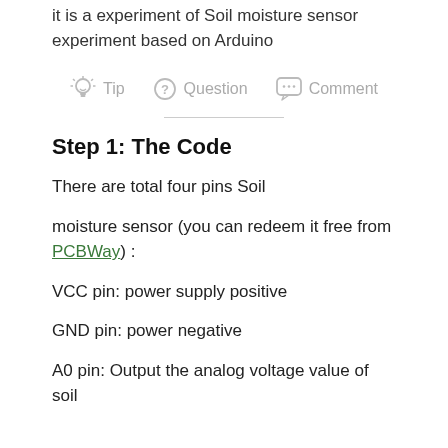it is a experiment of Soil moisture sensor experiment based on Arduino
[Figure (infographic): Icon bar with Tip (lightbulb icon), Question (question mark icon), and Comment (speech bubble icon) in gray]
Step 1: The Code
There are total four pins Soil
moisture sensor (you can redeem it free from PCBWay) :
VCC pin: power supply positive
GND pin: power negative
A0 pin: Output the analog voltage value of soil